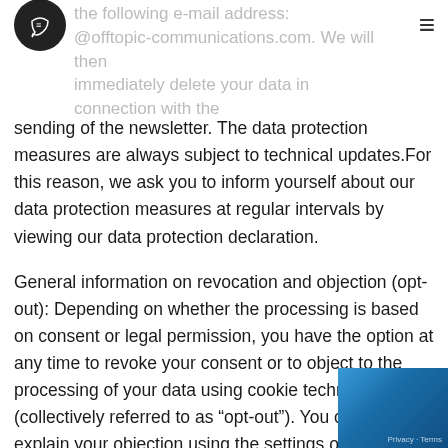the following e-mail address: @offtopic-communications.com. We will then immediately delete your data in connection with the
sending of the newsletter. The data protection measures are always subject to technical updates.For this reason, we ask you to inform yourself about our data protection measures at regular intervals by viewing our data protection declaration.
General information on revocation and objection (opt-out): Depending on whether the processing is based on consent or legal permission, you have the option at any time to revoke your consent or to object to the processing of your data using cookie technologies (collectively referred to as “opt-out”). You can first explain your objection using the settings of your browser, e.g. by deactivating the use of cookies (which can also restrict the functionality of our online offer). An objection to the use of cookies for online marketing purposes can also be